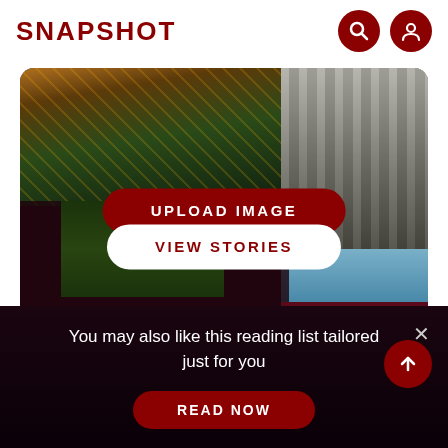SNAPSHOT
[Figure (screenshot): App UI screenshot showing a photo collage hero area with aerial night city image top-left, classical columns photo top-right and center-right, foliage center, blue sky bottom-right, dark overlay, with two buttons: UPLOAD IMAGE (dark red) and VIEW STORIES (white)]
UPLOAD IMAGE
VIEW STORIES
You may also like this reading list tailored just for you
READ NOW